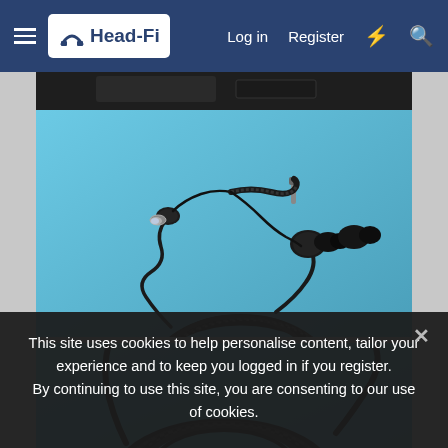Head-Fi | Log in | Register
[Figure (photo): Photo of black in-ear earphones/earbuds with braided cable coiled on a blue surface. One earphone shows a clear/silver nozzle tip.]
[Figure (photo): Photo of black earphone cable coiled on a blue surface, partial view cut off by cookie consent banner.]
This site uses cookies to help personalise content, tailor your experience and to keep you logged in if you register. By continuing to use this site, you are consenting to our use of cookies.